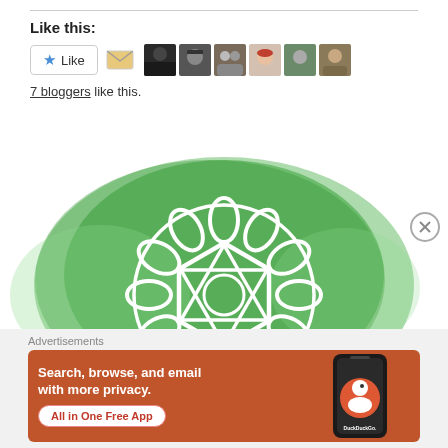Like this:
[Figure (illustration): Like button widget with star icon, email icon, and 7 blogger avatar thumbnails]
7 bloggers like this.
[Figure (illustration): Green watercolor background with white outlined heart chakra mandala symbol]
Advertisements
[Figure (illustration): DuckDuckGo advertisement banner: Search, browse, and email with more privacy. All in One Free App. Shows phone with DuckDuckGo logo.]